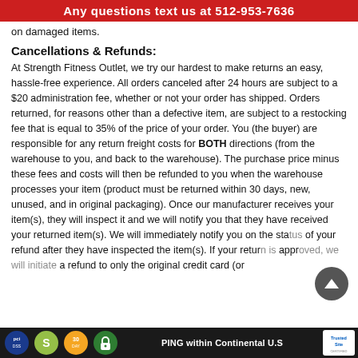Any questions text us at 512-953-7636
on damaged items.
Cancellations & Refunds:
At Strength Fitness Outlet, we try our hardest to make returns an easy, hassle-free experience. All orders canceled after 24 hours are subject to a $20 administration fee, whether or not your order has shipped. Orders returned, for reasons other than a defective item, are subject to a restocking fee that is equal to 35% of the price of your order. You (the buyer) are responsible for any return freight costs for BOTH directions (from the warehouse to you, and back to the warehouse). The purchase price minus these fees and costs will then be refunded to you when the warehouse processes your item (product must be returned within 30 days, new, unused, and in original packaging). Once our manufacturer receives your item(s), they will inspect it and we will notify you that they have received your returned item(s). We will immediately notify you on the status of your refund after they have inspected the item(s). If your return is approved, we will initiate a refund to only the original credit card (or
FREE SHIPPING within Continental U.S